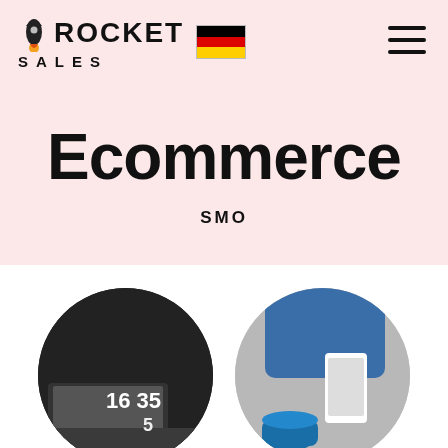[Figure (logo): Rocket Sales logo with rocket icon and German flag]
[Figure (illustration): Hamburger menu icon (three horizontal lines) in top right corner]
Ecommerce
SMO
[Figure (photo): Two circular cropped photos at the bottom: left shows a laptop/clock with '16 35 5' text, right shows a person holding a smartphone with a coffee cup]